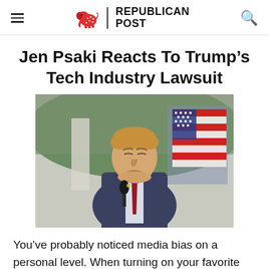REPUBLICAN POST
Jen Psaki Reacts To Trump’s Tech Industry Lawsuit
[Figure (photo): Photo of Donald Trump at an outdoor podium with an American flag in the background, wearing a suit and red tie, eyes closed]
You’ve probably noticed media bias on a personal level. When turning on your favorite network, they seem to skip or gloss over facts